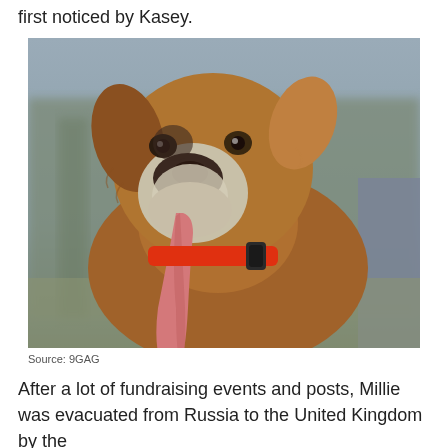first noticed by Kasey.
[Figure (photo): A brown and white dog with a very long tongue hanging out, wearing a red collar, photographed outdoors with blurred trees and a person in background.]
Source: 9GAG
After a lot of fundraising events and posts, Millie was evacuated from Russia to the United Kingdom by the